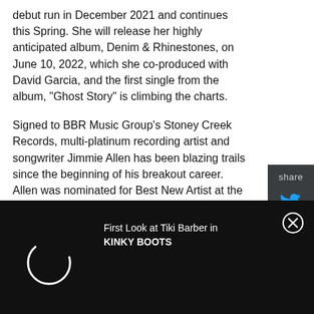debut run in December 2021 and continues this Spring. She will release her highly anticipated album, Denim & Rhinestones, on June 10, 2022, which she co-produced with David Garcia, and the first single from the album, "Ghost Story" is climbing the charts.
Signed to BBR Music Group's Stoney Creek Records, multi-platinum recording artist and songwriter Jimmie Allen has been blazing trails since the beginning of his breakout career. Allen was nominated for Best New Artist at the 64th Annual GRAMMY Awards in April 2022, his first ever GRAMMY nomination.
[Figure (other): Advertisement bar with loading spinner and text 'First Look at Tiki Barber in KINKY BOOTS' with close button]